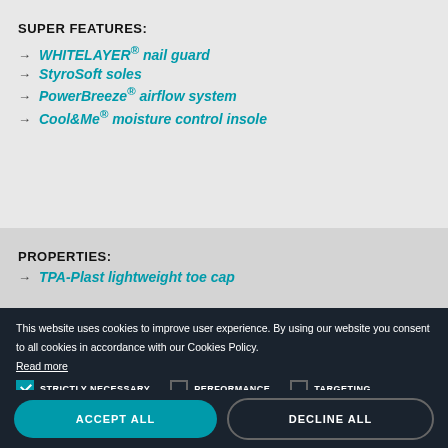SUPER FEATURES:
WHITELAYER® nail guard
StyroSoft soles
PowerBreeze® airflow system
Cool&Me® moisture control insole
PROPERTIES:
TPA-Plast lightweight toe cap
This website uses cookies to improve user experience. By using our website you consent to all cookies in accordance with our Cookies Policy. Read more
STRICTLY NECESSARY | PERFORMANCE | TARGETING | FUNCTIONALITY
ACCEPT ALL | DECLINE ALL